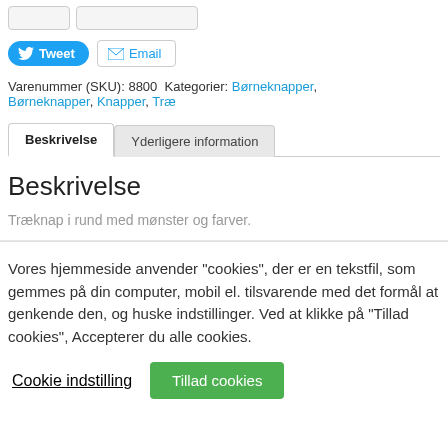Varenummer (SKU): 8800 Kategorier: Børneknapper, Børneknapper, Knapper, Træ
[Figure (screenshot): Tweet and Email social share buttons]
Beskrivelse
Yderligere information
Beskrivelse
Træknap i rund med mønster og farver.
Vores hjemmeside anvender "cookies", der er en tekstfil, som gemmes på din computer, mobil el. tilsvarende med det formål at genkende den, og huske indstillinger. Ved at klikke på "Tillad cookies", Accepterer du alle cookies.
Cookie indstilling
Tillad cookies